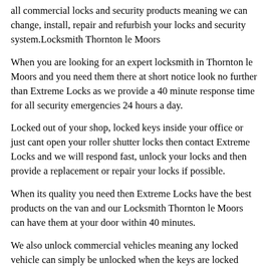all commercial locks and security products meaning we can change, install, repair and refurbish your locks and security system.Locksmith Thornton le Moors
When you are looking for an expert locksmith in Thornton le Moors and you need them there at short notice look no further than Extreme Locks as we provide a 40 minute response time for all security emergencies 24 hours a day.
Locked out of your shop, locked keys inside your office or just cant open your roller shutter locks then contact Extreme Locks and we will respond fast, unlock your locks and then provide a replacement or repair your locks if possible.
When its quality you need then Extreme Locks have the best products on the van and our Locksmith Thornton le Moors can have them at your door within 40 minutes.
We also unlock commercial vehicles meaning any locked vehicle can simply be unlocked when the keys are locked inside and a new set of keys can be made for almost any commercial vehicle if your commercial